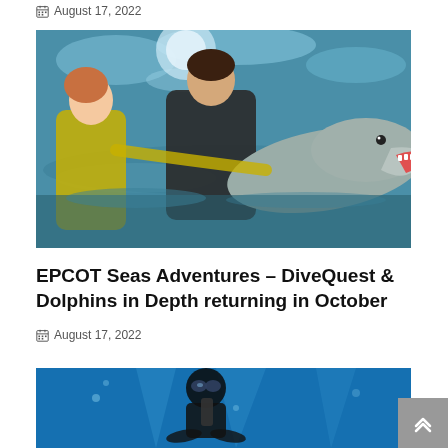August 17, 2022
[Figure (photo): Two divers in wetsuits in an aquarium pool with a dolphin that has its mouth open, interacting with the dolphin at the water surface]
EPCOT Seas Adventures – DiveQuest & Dolphins in Depth returning in October
August 17, 2022
[Figure (photo): An underwater scene with a diver in scuba gear surrounded by blue water, partially visible at the bottom of the page]